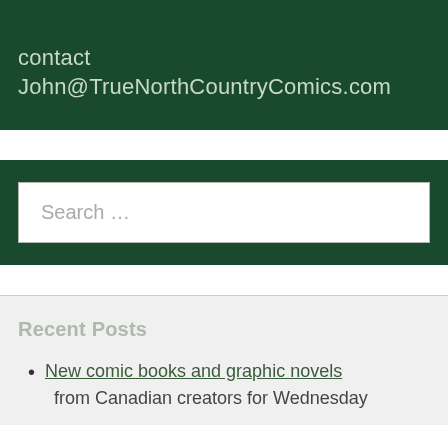contact John@TrueNorthCountryComics.com
Search …
Recent Posts
New comic books and graphic novels from Canadian creators for Wednesday